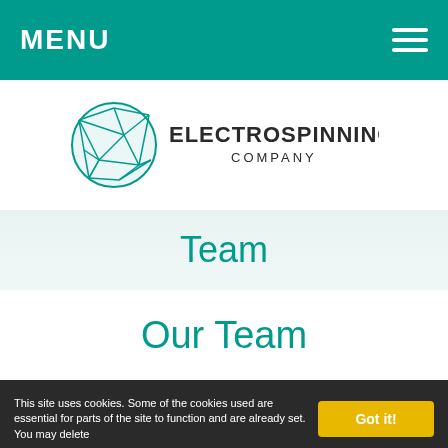MENU
[Figure (logo): Electrospinning Company logo with teal geometric globe and company name text]
Team
Our Team
This site uses cookies. Some of the cookies used are essential for parts of the site to function and are already set. You may delete